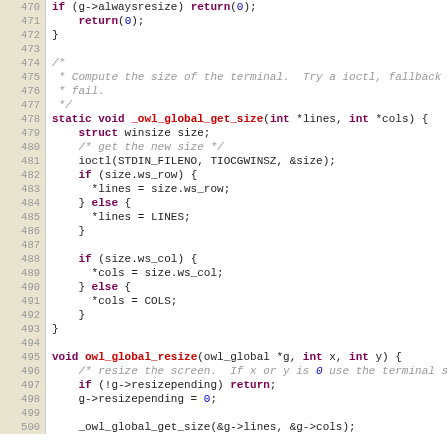[Figure (screenshot): Source code listing in C, lines 470-500, showing functions _owl_global_get_size and owl_global_resize with syntax highlighting. Line numbers on left in tan/beige column, code on right with keywords in dark red bold, function names in blue/red bold, comments in gray italic, numeric literals in blue.]